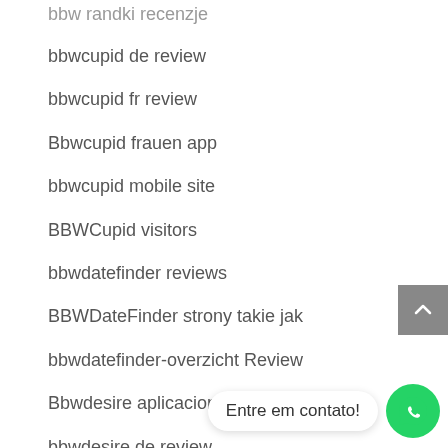bbw randki recenzje
bbwcupid de review
bbwcupid fr review
Bbwcupid frauen app
bbwcupid mobile site
BBWCupid visitors
bbwdatefinder reviews
BBWDateFinder strony takie jak
bbwdatefinder-overzicht Review
Bbwdesire aplicacion para ligar
bbwdesire de review
Bbwdesire frau
bbwdesire ne demek
Entre em contato!